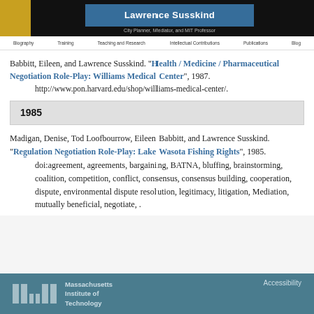Lawrence Susskind — City Planner, Mediator, and MIT Professor
Babbitt, Eileen, and Lawrence Susskind. "Health / Medicine / Pharmaceutical Negotiation Role-Play: Williams Medical Center", 1987. http://www.pon.harvard.edu/shop/williams-medical-center/.
1985
Madigan, Denise, Tod Loofbourrow, Eileen Babbitt, and Lawrence Susskind. "Regulation Negotiation Role-Play: Lake Wasota Fishing Rights", 1985. doi:agreement, agreements, bargaining, BATNA, bluffing, brainstorming, coalition, competition, conflict, consensus, consensus building, cooperation, dispute, environmental dispute resolution, legitimacy, litigation, Mediation, mutually beneficial, negotiate, .
Massachusetts Institute of Technology — Accessibility